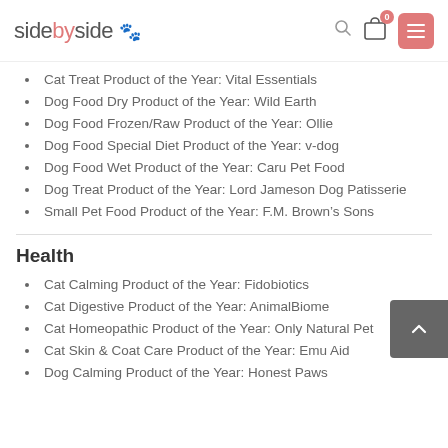sidebyside [logo]
Cat Treat Product of the Year: Vital Essentials
Dog Food Dry Product of the Year: Wild Earth
Dog Food Frozen/Raw Product of the Year: Ollie
Dog Food Special Diet Product of the Year: v-dog
Dog Food Wet Product of the Year: Caru Pet Food
Dog Treat Product of the Year: Lord Jameson Dog Patisserie
Small Pet Food Product of the Year: F.M. Brown’s Sons
Health
Cat Calming Product of the Year: Fidobiotics
Cat Digestive Product of the Year: AnimalBiome
Cat Homeopathic Product of the Year: Only Natural Pet
Cat Skin & Coat Care Product of the Year: Emu Aid
Dog Calming Product of the Year: Honest Paws